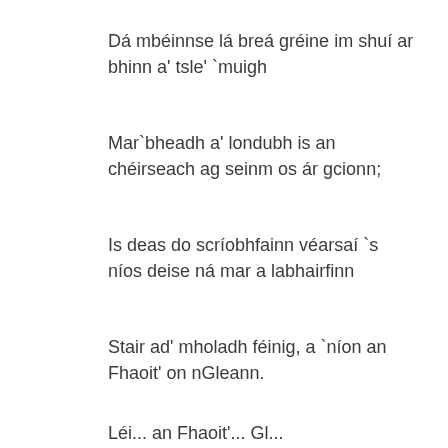Dá mbéinnse lá breá gréine im shuí ar bhinn a' tsle' `muigh
Mar`bheadh a' londubh is an chéirseach ag seinm os ár gcionn;
Is deas do scríobhfainn véarsaí `s níos deise ná mar a labhairfinn
Stair ad' mholadh féinig, a `níon an Fhaoit' on nGleann.
Léi... an Fhaoit'... Gl...